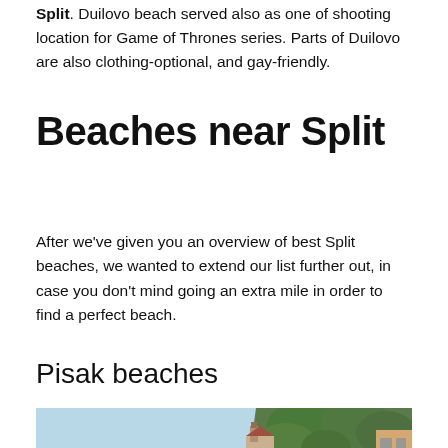Split. Duilovo beach served also as one of shooting location for Game of Thrones series. Parts of Duilovo are also clothing-optional, and gay-friendly.
Beaches near Split
After we've given you an overview of best Split beaches, we wanted to extend our list further out, in case you don't mind going an extra mile in order to find a perfect beach.
Pisak beaches
[Figure (photo): Coastal beach scene with calm turquoise water, sandy shoreline, rocky cliffs with lush green trees, and a historic church or building with a bell tower visible on the headland.]